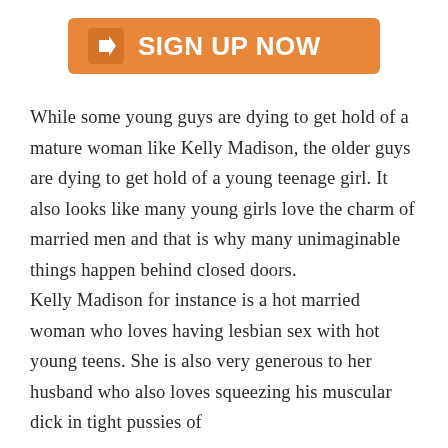[Figure (other): Orange 'SIGN UP NOW' button with arrow icon on left]
While some young guys are dying to get hold of a mature woman like Kelly Madison, the older guys are dying to get hold of a young teenage girl. It also looks like many young girls love the charm of married men and that is why many unimaginable things happen behind closed doors.
Kelly Madison for instance is a hot married woman who loves having lesbian sex with hot young teens. She is also very generous to her husband who also loves squeezing his muscular dick in tight pussies of